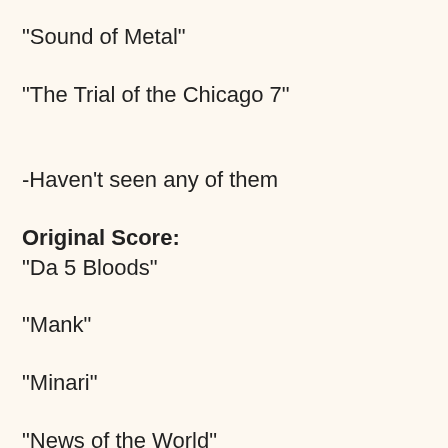"Sound of Metal"
"The Trial of the Chicago 7"
-Haven't seen any of them
Original Score:
"Da 5 Bloods"
"Mank"
"Minari"
"News of the World"
"Soul"